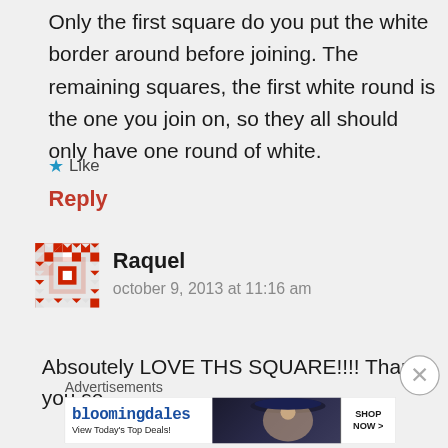Only the first square do you put the white border around before joining. The remaining squares, the first white round is the one you join on, so they all should only have one round of white.
★ Like
Reply
[Figure (illustration): Red and white quilt-pattern avatar icon for commenter Raquel]
Raquel
october 9, 2013 at 11:16 am
Absoutely LOVE THS SQUARE!!!! Thank you so
Advertisements
[Figure (screenshot): Bloomingdale's advertisement banner: bloomingdales logo, 'View Today's Top Deals!' text, woman in hat photo, SHOP NOW > button]